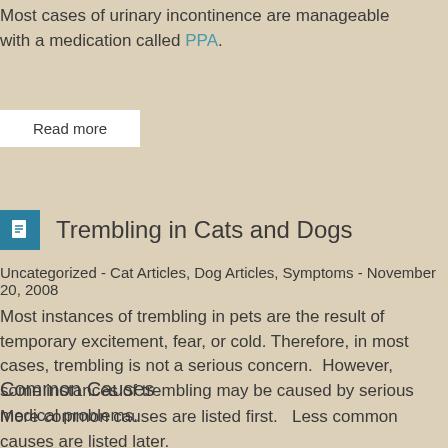Most cases of urinary incontinence are manageable with a medication called PPA.
Read more
Trembling in Cats and Dogs
Uncategorized - Cat Articles, Dog Articles, Symptoms - November 20, 2008
Most instances of trembling in pets are the result of temporary excitement, fear, or cold. Therefore, in most cases, trembling is not a serious concern. However, some instances of trembling may be caused by serious medical problems.
Common Causes
More common causes are listed first. Less common causes are listed later.